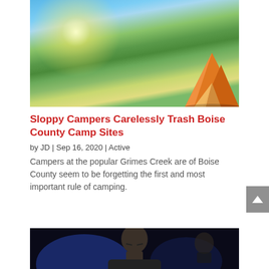[Figure (photo): Outdoor camping scene with orange tent on green mountain meadow, alpine lake and mountain peaks in background, sunrise/sunburst lighting]
Sloppy Campers Carelessly Trash Boise County Camp Sites
by JD | Sep 16, 2020 | Active
Campers at the popular Grimes Creek are of Boise County seem to be forgetting the first and most important rule of camping.
[Figure (photo): Close-up of a bald man with serious expression, dark background with blue lighting, another person visible in background]